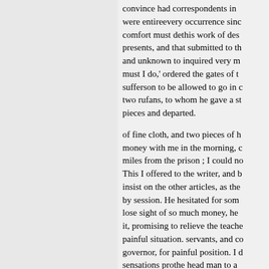convince had correspondents in were entireevery occurrence sinc comfort must dethis work of des presents, and that submitted to th and unknown to inquired very m must I do,' ordered the gates of t sufferson to be allowed to go in two rufans, to whom he gave a s pieces and departed.
of fine cloth, and two pieces of h money with me in the morning, c miles from the prison ; I could n This I offered to the writer, and b insist on the other articles, as the by session. He hesitated for som lose sight of so much money, he it, promising to relieve the teach painful situation. servants, and c governor, for painful position. I c sensations prothe head man to a wretched, horall a present in the which ensued, I
After much debate, and many